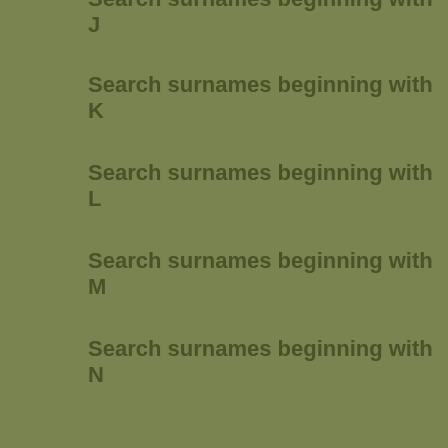Search surnames beginning with J
Search surnames beginning with K
Search surnames beginning with L
Search surnames beginning with M
Search surnames beginning with N
Search surnames beginning with O
Search surnames beginning with P
Search surnames beginning with Q